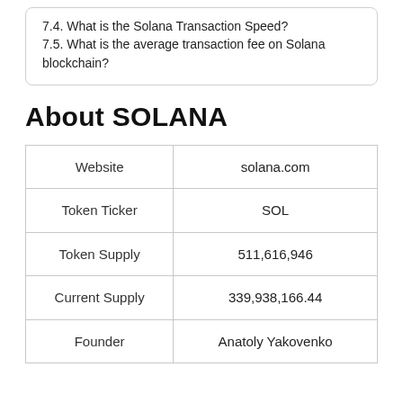7.4. What is the Solana Transaction Speed?
7.5. What is the average transaction fee on Solana blockchain?
About SOLANA
|  |  |
| --- | --- |
| Website | solana.com |
| Token Ticker | SOL |
| Token Supply | 511,616,946 |
| Current Supply | 339,938,166.44 |
| Founder | Anatoly Yakovenko |